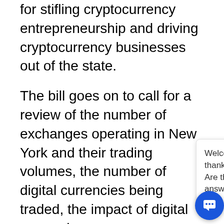for stifling cryptocurrency entrepreneurship and driving cryptocurrency businesses out of the state.
The bill goes on to call for a review of the number of exchanges operating in New York and their trading volumes, the number of digital currencies being traded, the impact of digital currencies on [obscured], the amount of energy co[nsumed by] cryptocurrency min[ing].
The task force woul[d have a broad] mandate, and its report would undoubtedly be an interesting read. But while it's understandable that the legislature wan[ts to] make sure that the task force has enough time
[Figure (screenshot): Chat popup overlay with message: 'Welcome to Coin IRA, and thank you for visiting our site. Are there any questions I can answer for you?' with a close X button and a blue circular chat icon button.]